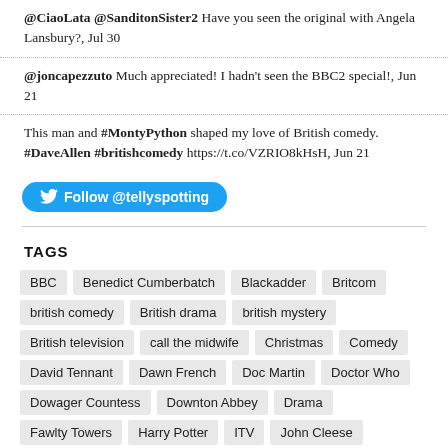@CiaoLata @SanditonSister2 Have you seen the original with Angela Lansbury?, Jul 30
@joncapezzuto Much appreciated! I hadn't seen the BBC2 special!, Jun 21
This man and #MontyPython shaped my love of British comedy. #DaveAllen #britishcomedy https://t.co/VZRIO8kHsH, Jun 21
[Figure (other): Follow @tellyspotting Twitter button]
TAGS
BBC
Benedict Cumberbatch
Blackadder
Britcom
british comedy
British drama
british mystery
British television
call the midwife
Christmas
Comedy
David Tennant
Dawn French
Doc Martin
Doctor Who
Dowager Countess
Downton Abbey
Drama
Fawlty Towers
Harry Potter
ITV
John Cleese
Keeping Up Appearances
KERA
London
Mark Gatiss
Martin Freeman
Masterpiece
Monty Python
Mystery